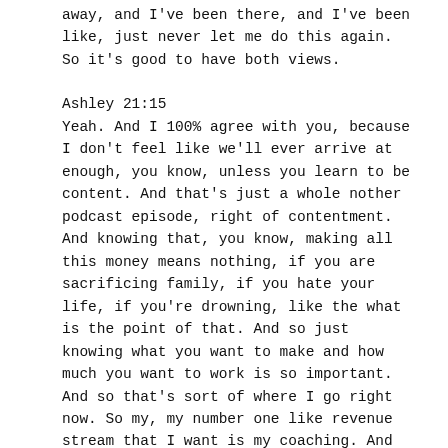away, and I've been there, and I've been like, just never let me do this again. So it's good to have both views.
Ashley 21:15
Yeah. And I 100% agree with you, because I don't feel like we'll ever arrive at enough, you know, unless you learn to be content. And that's just a whole nother podcast episode, right of contentment. And knowing that, you know, making all this money means nothing, if you are sacrificing family, if you hate your life, if you're drowning, like the what is the point of that. And so just knowing what you want to make and how much you want to work is so important. And so that's sort of where I go right now. So my, my number one like revenue stream that I want is my coaching. And then I want my photography, in person classes to be second. And actually my photography business, I love it. But